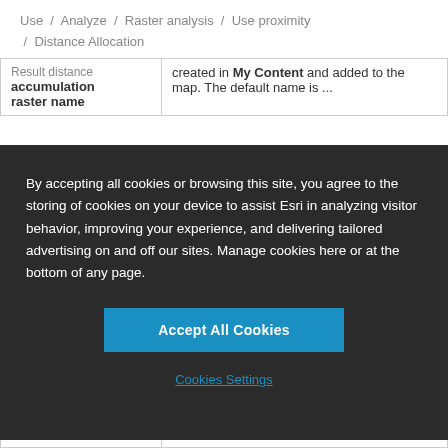Use / Analyze / Raster analysis / Use proximity / Distance Allocation
| Result distance accumulation raster name | created in My Content and added to the map. The default name is ... |
|  | The direction identifies the next cell |
By accepting all cookies or browsing this site, you agree to the storing of cookies on your device to assist Esri in analyzing visitor behavior, improving your experience, and delivering tailored advertising on and off our sites. Manage cookies here or at the bottom of any page.
Accept All Cookies
Cookies Settings